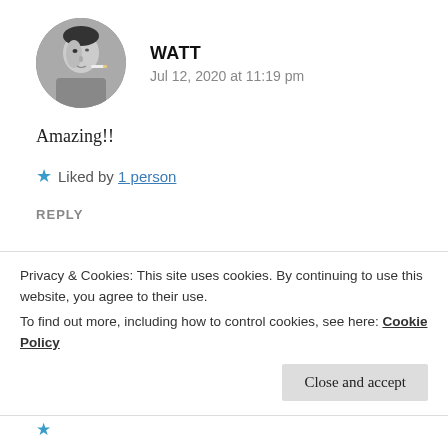[Figure (photo): Circular avatar photo of a man in black and white, smoking]
WATT
Jul 12, 2020 at 11:19 pm
Amazing!!
★ Liked by 1 person
REPLY
[Figure (photo): Circular avatar photo of a person, colorful]
ISHITA GUPTA
Privacy & Cookies: This site uses cookies. By continuing to use this website, you agree to their use.
To find out more, including how to control cookies, see here: Cookie Policy
Close and accept